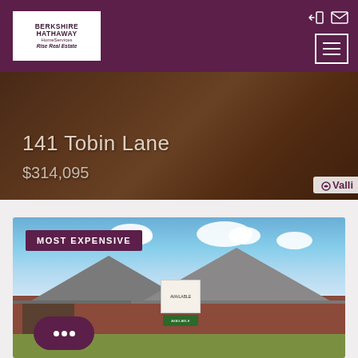[Figure (screenshot): Berkshire Hathaway HomeServices Rise Real Estate website header with purple background, logo, sign-in and mail icons, and hamburger menu button]
[Figure (photo): Property listing photo showing a dark rooftop background with text overlay: address '141 Tobin Lane' and price '$314,095', with a Valli watermark badge in the bottom right]
141 Tobin Lane
$314,095
[Figure (photo): Property listing photo of a brick ranch-style home with MOST EXPENSIVE badge, blue sky with clouds, available sign in front yard, and a chat widget bubble at bottom left]
MOST EXPENSIVE